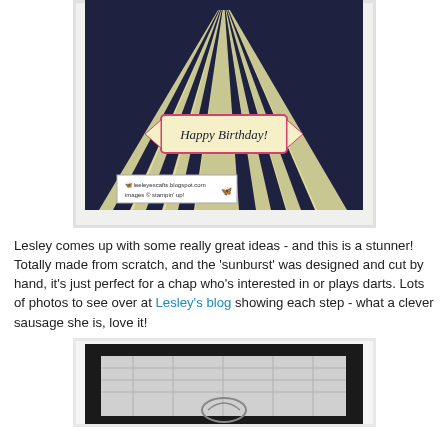[Figure (photo): A handmade birthday card featuring a dartboard design with sunburst rays in cream/yellow on a dark navy background, with pink and mint green concentric arcs at the top. A 'Happy Birthday' banner is in the center. A small watermark label is in the lower left corner.]
Lesley comes up with some really great ideas - and this is a stunner! Totally made from scratch, and the 'sunburst' was designed and cut by hand, it's just perfect for a chap who's interested in or plays darts. Lots of photos to see over at Lesley's blog showing each step - what a clever sausage she is, love it!
[Figure (photo): A handmade card with a black mount/frame on a white background, showing a partially visible grey/silver design inside — appears to be another card or craft project, partially cropped at the bottom of the page.]